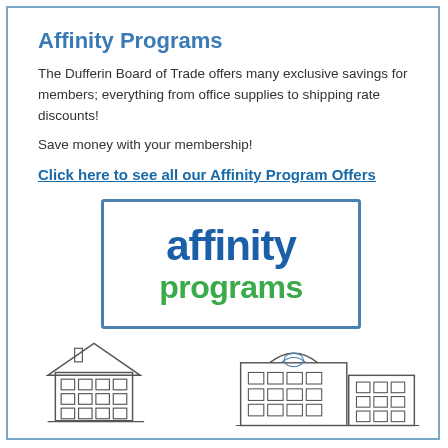Affinity Programs
The Dufferin Board of Trade offers many exclusive savings for members; everything from office supplies to shipping rate discounts!
Save money with your membership!
Click here to see all our Affinity Program Offers
[Figure (logo): Affinity Programs logo: blue text 'affinity' and green text 'programs' inside a blue rectangular border]
[Figure (illustration): Line drawing illustration of buildings/storefronts at the bottom of the page]